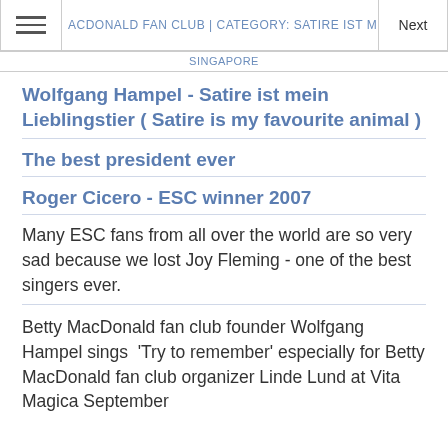≡  ACDONALD FAN CLUB | CATEGORY: SATIRE IST MEIN LIEBLIN…  Next
SINGAPORE
Wolfgang Hampel - Satire ist mein Lieblingstier ( Satire is my favourite animal )
The best president ever
Roger Cicero - ESC winner 2007
Many ESC fans from all over the world are so very sad because we lost Joy Fleming - one of the best singers ever.
Betty MacDonald fan club founder Wolfgang Hampel sings  'Try to remember' especially for Betty MacDonald fan club organizer Linde Lund at Vita Magica September